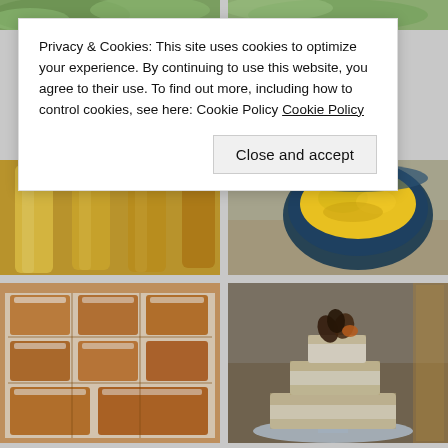[Figure (photo): Grid of food photos in background: top strip showing greenery, middle row showing golden tubes/cylinders and a bowl of yellow food, bottom row showing glazed bar cookies/slices and a tiered white cake with decorations on a cake stand]
Privacy & Cookies: This site uses cookies to optimize your experience. By continuing to use this website, you agree to their use. To find out more, including how to control cookies, see here: Cookie Policy Cookie Policy